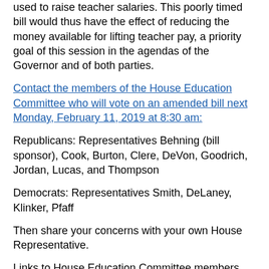used to raise teacher salaries. This poorly timed bill would thus have the effect of reducing the money available for lifting teacher pay, a priority goal of this session in the agendas of the Governor and of both parties.
Contact the members of the House Education Committee who will vote on an amended bill next Monday, February 11, 2019 at 8:30 am:
Republicans: Representatives Behning (bill sponsor), Cook, Burton, Clere, DeVon, Goodrich, Jordan, Lucas, and Thompson
Democrats: Representatives Smith, DeLaney, Klinker, Pfaff
Then share your concerns with your own House Representative.
Links to House Education Committee members can be found here:
www.neifpe.org/p/indiana-legislative-education-committees.html